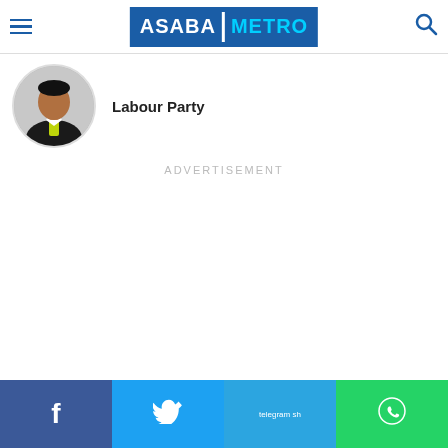ASABA METRO
Labour Party
ADVERTISEMENT
Facebook | Twitter | Telegram | WhatsApp